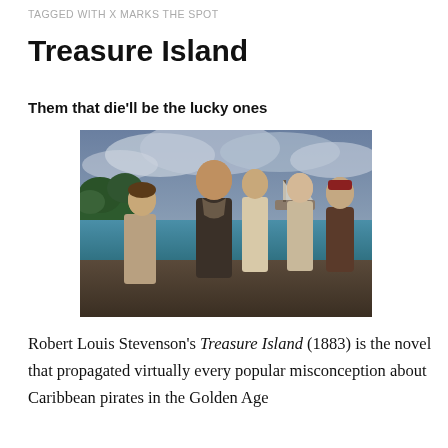TAGGED WITH X MARKS THE SPOT
Treasure Island
Them that die'll be the lucky ones
[Figure (photo): Promotional or film adaptation photo showing five characters in period pirate/seafaring costume standing together against a backdrop of tropical island scenery, ocean, and dramatic cloudy sky. A ship is visible in the background.]
Robert Louis Stevenson's Treasure Island (1883) is the novel that propagated virtually every popular misconception about Caribbean pirates in the Golden Age